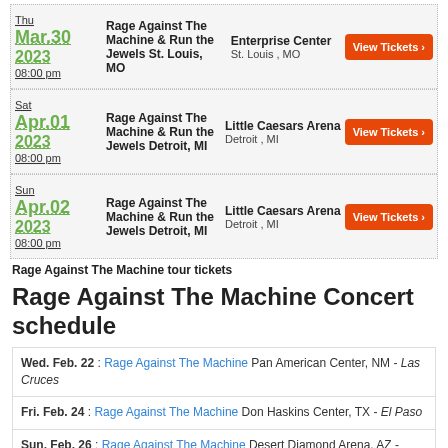| Date | Event | Venue | Action |
| --- | --- | --- | --- |
| Thu Mar.30 2023 08:00 pm | Rage Against The Machine & Run the Jewels St. Louis, MO | Enterprise Center
St. Louis , MO | View Tickets |
| Sat Apr.01 2023 08:00 pm | Rage Against The Machine & Run the Jewels Detroit, MI | Little Caesars Arena
Detroit , MI | View Tickets |
| Sun Apr.02 2023 08:00 pm | Rage Against The Machine & Run the Jewels Detroit, MI | Little Caesars Arena
Detroit , MI | View Tickets |
Rage Against The Machine tour tickets
Rage Against The Machine Concert schedule
Wed. Feb. 22 : Rage Against The Machine Pan American Center, NM - Las Cruces
Fri. Feb. 24 : Rage Against The Machine Don Haskins Center, TX - El Paso
Sun. Feb. 26 : Rage Against The Machine Desert Diamond Arena, AZ - Glendale